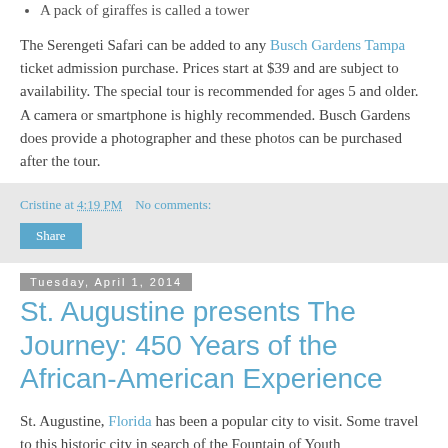A pack of giraffes is called a tower
The Serengeti Safari can be added to any Busch Gardens Tampa ticket admission purchase. Prices start at $39 and are subject to availability. The special tour is recommended for ages 5 and older. A camera or smartphone is highly recommended. Busch Gardens does provide a photographer and these photos can be purchased after the tour.
Cristine at 4:19 PM   No comments:
Share
Tuesday, April 1, 2014
St. Augustine presents The Journey: 450 Years of the African-American Experience
St. Augustine, Florida has been a popular city to visit. Some travel to this historic city in search of the Fountain of Youth...